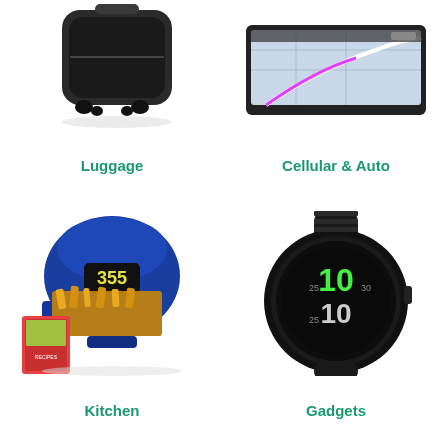[Figure (photo): Black hardshell rolling luggage/suitcase with four spinner wheels on white background]
Luggage
[Figure (photo): GPS navigation device with map display on screen showing roads and route]
Cellular & Auto
[Figure (photo): Blue air fryer with digital display showing 355, basket open with french fries, and a recipe book beside it]
Kitchen
[Figure (photo): Black Garmin GPS smartwatch/fitness tracker with round face showing '10' in green and white text]
Gadgets